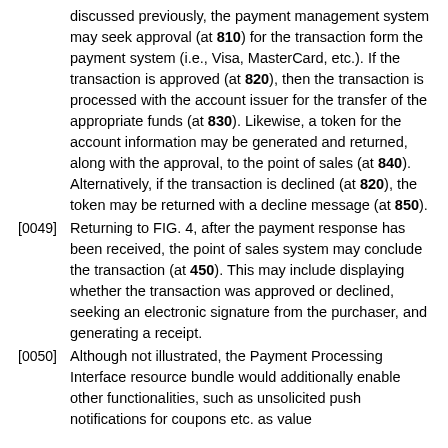discussed previously, the payment management system may seek approval (at 810) for the transaction form the payment system (i.e., Visa, MasterCard, etc.). If the transaction is approved (at 820), then the transaction is processed with the account issuer for the transfer of the appropriate funds (at 830). Likewise, a token for the account information may be generated and returned, along with the approval, to the point of sales (at 840). Alternatively, if the transaction is declined (at 820), the token may be returned with a decline message (at 850).
[0049] Returning to FIG. 4, after the payment response has been received, the point of sales system may conclude the transaction (at 450). This may include displaying whether the transaction was approved or declined, seeking an electronic signature from the purchaser, and generating a receipt.
[0050] Although not illustrated, the Payment Processing Interface resource bundle would additionally enable other functionalities, such as unsolicited push notifications for coupons etc. as value